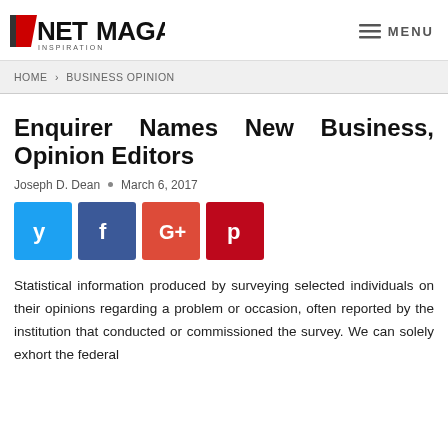NET MAGAZINES INSPIRATION  |  MENU
HOME > BUSINESS OPINION
Enquirer Names New Business, Opinion Editors
Joseph D. Dean  •  March 6, 2017
[Figure (other): Social media share buttons: Twitter (blue), Facebook (dark blue), Google+ (red-orange), Pinterest (dark red)]
Statistical information produced by surveying selected individuals on their opinions regarding a problem or occasion, often reported by the institution that conducted or commissioned the survey. We can solely exhort the federal